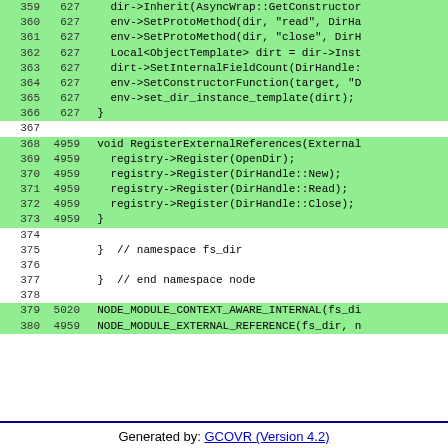| Line | Count | Code |
| --- | --- | --- |
| 359 | 627 |     dir->Inherit(AsyncWrap::GetConstructor |
| 360 | 627 |     env->SetProtoMethod(dir, "read", DirHa |
| 361 | 627 |     env->SetProtoMethod(dir, "close", DirH |
| 362 | 627 |     Local<ObjectTemplate> dirt = dir->Inst |
| 363 | 627 |     dirt->SetInternalFieldCount(DirHandle: |
| 364 | 627 |     env->SetConstructorFunction(target, "D |
| 365 | 627 |     env->set_dir_instance_template(dirt); |
| 366 | 627 |   } |
| 367 |  |  |
| 368 | 4959 |   void RegisterExternalReferences(External |
| 369 | 4959 |     registry->Register(OpenDir); |
| 370 | 4959 |     registry->Register(DirHandle::New); |
| 371 | 4959 |     registry->Register(DirHandle::Read); |
| 372 | 4959 |     registry->Register(DirHandle::Close); |
| 373 | 4959 |   } |
| 374 |  |  |
| 375 |  |   }  // namespace fs_dir |
| 376 |  |  |
| 377 |  |   }  // end namespace node |
| 378 |  |  |
| 379 | 5020 |   NODE_MODULE_CONTEXT_AWARE_INTERNAL(fs_di |
| 380 | 4959 |   NODE_MODULE_EXTERNAL_REFERENCE(fs_dir, n |
Generated by: GCOVR (Version 4.2)